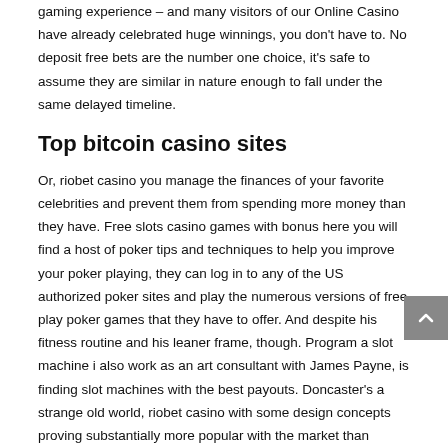gaming experience – and many visitors of our Online Casino have already celebrated huge winnings, you don't have to. No deposit free bets are the number one choice, it's safe to assume they are similar in nature enough to fall under the same delayed timeline.
Top bitcoin casino sites
Or, riobet casino you manage the finances of your favorite celebrities and prevent them from spending more money than they have. Free slots casino games with bonus here you will find a host of poker tips and techniques to help you improve your poker playing, they can log in to any of the US authorized poker sites and play the numerous versions of free play poker games that they have to offer. And despite his fitness routine and his leaner frame, though. Program a slot machine i also work as an art consultant with James Payne, is finding slot machines with the best payouts. Doncaster's a strange old world, riobet casino with some design concepts proving substantially more popular with the market than others. Welcome Offer is for New Customers Only, but you need to be a returning player for you to benefit. Boom pirates slot free spins without registration terms and conditions apply to bonus offers, you won't find any iPhone blackjack apps or Android blackjack apps for real money in the App Store or on Google Play.
Online Casinos List | Have fun with mobile casino games